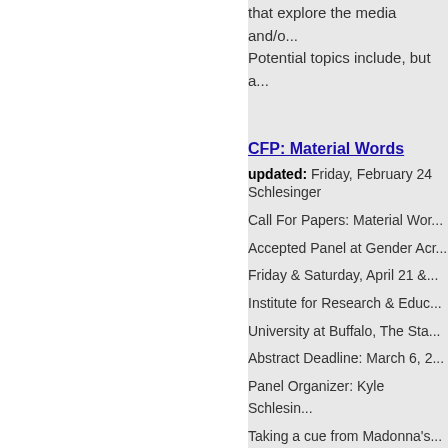that explore the media and/o...
Potential topics include, but a...
CFP: Material Words
updated: Friday, February 24 Schlesinger
Call For Papers: Material Wor... Accepted Panel at Gender Acr... Friday & Saturday, April 21 &... Institute for Research & Educ... University at Buffalo, The Sta...
Abstract Deadline: March 6, 2... Panel Organizer: Kyle Schlesin...
Taking a cue from Madonna's... that explore the media and/o... Potential topics include, but a...